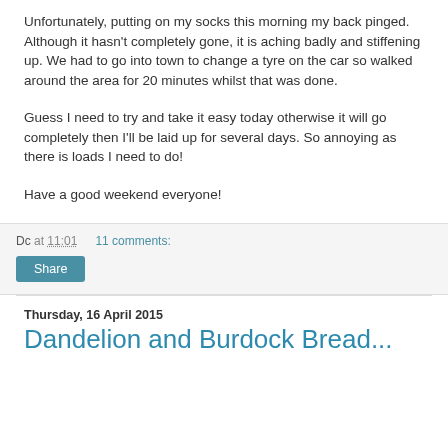Unfortunately, putting on my socks this morning my back pinged. Although it hasn't completely gone, it is aching badly and stiffening up. We had to go into town to change a tyre on the car so walked around the area for 20 minutes whilst that was done.
Guess I need to try and take it easy today otherwise it will go completely then I'll be laid up for several days. So annoying as there is loads I need to do!
Have a good weekend everyone!
Dc at 11:01   11 comments:
Thursday, 16 April 2015
Dandelion and Burdock Bread...